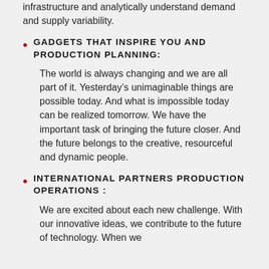infrastructure and analytically understand demand and supply variability.
GADGETS THAT INSPIRE YOU AND PRODUCTION PLANNING:
The world is always changing and we are all part of it. Yesterday’s unimaginable things are possible today. And what is impossible today can be realized tomorrow. We have the important task of bringing the future closer. And the future belongs to the creative, resourceful and dynamic people.
INTERNATIONAL PARTNERS PRODUCTION OPERATIONS :
We are excited about each new challenge. With our innovative ideas, we contribute to the future of technology. When we